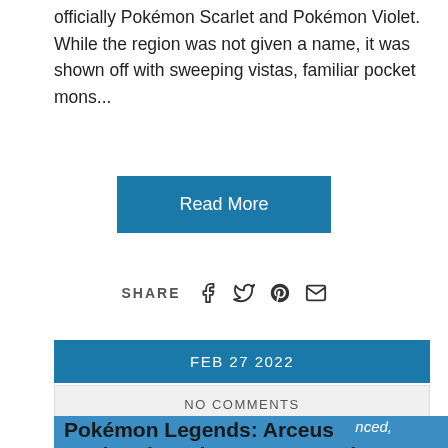officially Pokémon Scarlet and Pokémon Violet. While the region was not given a name, it was shown off with sweeping vistas, familiar pocket mons...
Read More
SHARE
FEB 27 2022
NO COMMENTS
Pokémon Legends: Arceus Daybreak Update Announced, Available Later Today